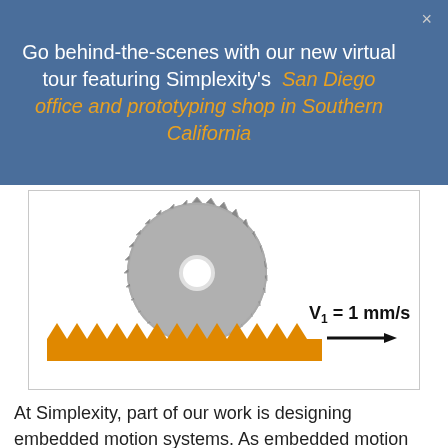Go behind-the-scenes with our new virtual tour featuring Simplexity's  San Diego office and prototyping shop in Southern California
[Figure (schematic): Engineering diagram showing a gray gear/circular saw blade resting on an orange rack (sawtooth base), with an arrow pointing right labeled V1 = 1 mm/s]
At Simplexity, part of our work is designing embedded motion systems. As embedded motion engineers, we have to know how the smart electronics get placed within the physical